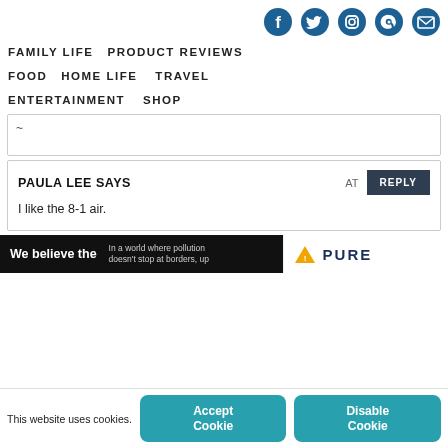[Figure (other): Social media icon links: Facebook, Twitter, Instagram, Pinterest, Email]
FAMILY LIFE   PRODUCT REVIEWS   FOOD   HOME LIFE   TRAVEL   ENTERTAINMENT   SHOP
~
PAULA LEE SAYS   AT   REPLY
I like the 8-1 air.
[Figure (other): Ad banner: 'We believe the' / 'In a world where pollution doesn't stop at borders...' and PURE logo with triangle]
This website uses cookies.
Accept Cookie
Disable Cookie